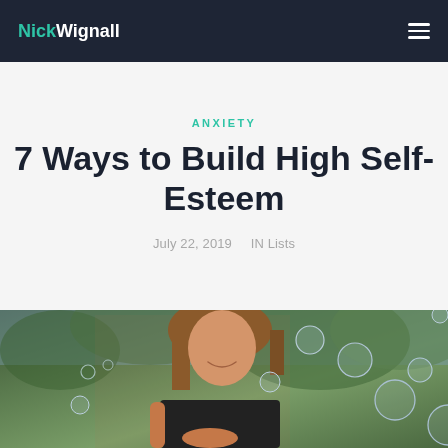NickWignall
ANXIETY
7 Ways to Build High Self-Esteem
July 22, 2019  IN Lists
[Figure (photo): A smiling woman with long brown hair wearing a black top, holding out her hand with soap bubbles floating around her against a blurred green tree background]